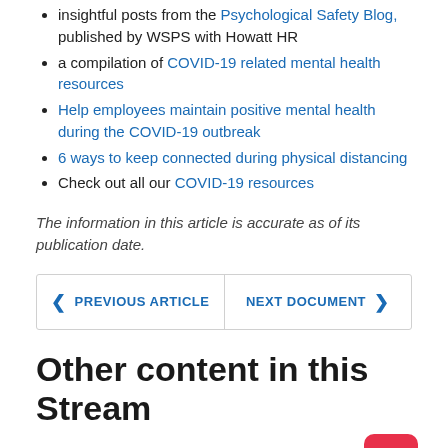insightful posts from the Psychological Safety Blog, published by WSPS with Howatt HR
a compilation of COVID-19 related mental health resources
Help employees maintain positive mental health during the COVID-19 outbreak
6 ways to keep connected during physical distancing
Check out all our COVID-19 resources
The information in this article is accurate as of its publication date.
PREVIOUS ARTICLE | NEXT DOCUMENT
Other content in this Stream
[Figure (photo): Two photo thumbnails of people, side by side, partially visible at bottom of page]